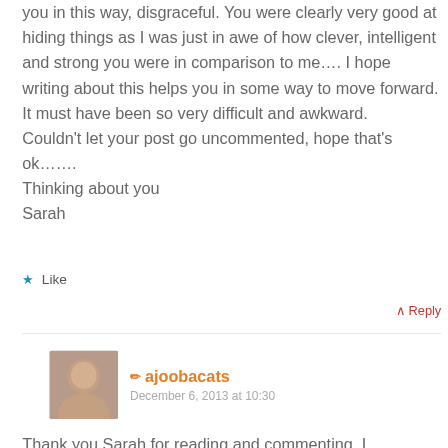you in this way, disgraceful. You were clearly very good at hiding things as I was just in awe of how clever, intelligent and strong you were in comparison to me…. I hope writing about this helps you in some way to move forward. It must have been so very difficult and awkward.
Couldn't let your post go uncommented, hope that's ok…….
Thinking about you
Sarah
★ Like
↑ Reply
ajoobacats
December 6, 2013 at 10:30
Thank you Sarah for reading and commenting. I